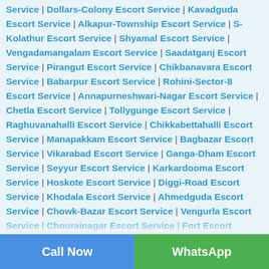Service | Dollars-Colony Escort Service | Kavadguda Escort Service | Alkapur-Township Escort Service | S-Kolathur Escort Service | Shyamal Escort Service | Vengadamangalam Escort Service | Saadatganj Escort Service | Pirangut Escort Service | Chikbanavara Escort Service | Babarpur Escort Service | Rohini-Sector-8 Escort Service | Annapurneshwari-Nagar Escort Service | Chetla Escort Service | Tollygunge Escort Service | Raghuvanahalli Escort Service | Chikkabettahalli Escort Service | Manapakkam Escort Service | Bagbazar Escort Service | Vikarabad Escort Service | Ganga-Dham Escort Service | Seyyur Escort Service | Karkardooma Escort Service | Hoskote Escort Service | Diggi-Road Escort Service | Khodala Escort Service | Ahmedguda Escort Service | Chowk-Bazar Escort Service | Vengurla Escort Service | Chourainagar Escort Service | Fort Escort Service | Mahalingapuram Escort Service | Vikramgad Escort Service | Neredmet Escort Service | Vandalur-Kelambakkam-Road Escort Service | Langford-Road Escort Service | Bagodara Escort Service | Victoria-Layout Escort Service | Budgam Escort Service | South-Bonal Escort Service |
Call Now | WhatsApp